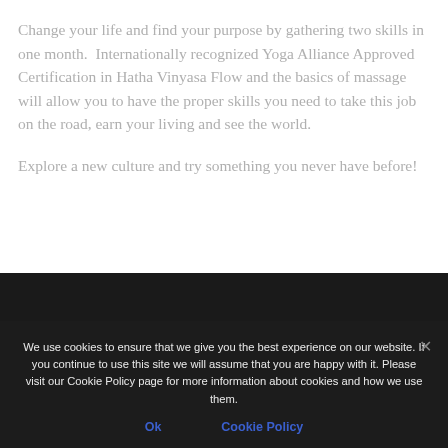Change your life and find your purpose by gathering two skills in one month.  Internationally recognized Yoga Alliance Approved Certification in Hatha Vinyasa Flow and the basics of massage will allow you to have the proper skills you need to take this job on the road, earn your living and see the world.
Explore a new culture and try something you never have before!
[partial dark section text visible]
Flow deeper into your yoga practice by adding this
We use cookies to ensure that we give you the best experience on our website. If you continue to use this site we will assume that you are happy with it. Please visit our Cookie Policy page for more information about cookies and how we use them.